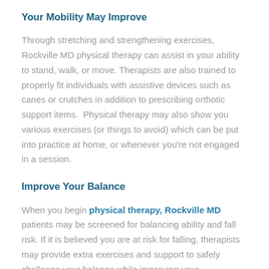Your Mobility May Improve
Through stretching and strengthening exercises, Rockville MD physical therapy can assist in your ability to stand, walk, or move. Therapists are also trained to properly fit individuals with assistive devices such as canes or crutches in addition to prescribing orthotic support items.  Physical therapy may also show you various exercises (or things to avoid) which can be put into practice at home, or whenever you're not engaged in a session.
Improve Your Balance
When you begin physical therapy, Rockville MD patients may be screened for balancing ability and fall risk. If it is believed you are at risk for falling, therapists may provide extra exercises and support to safely challenge your balance while improving your coordination. It's important to note that physical therapy is not limited to the